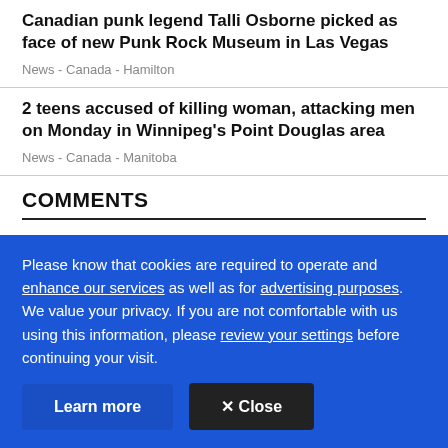Canadian punk legend Talli Osborne picked as face of new Punk Rock Museum in Las Vegas
News  -  Canada  -  Hamilton
2 teens accused of killing woman, attacking men on Monday in Winnipeg's Point Douglas area
News  -  Canada  -  Manitoba
COMMENTS
To encourage thoughtful and respectful conversations, first and last names will appear with each submission to
Please know that cookies are required to operate and enhance our services as well as for advertising purposes. We value your privacy. If you are not comfortable with us using this information, please review your settings before continuing your visit.
Learn more
✕ Close